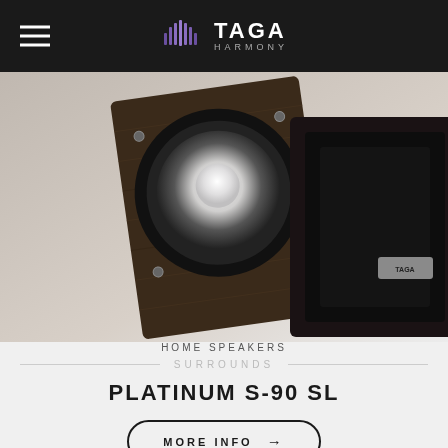TAGA HARMONY
[Figure (photo): Two TAGA Harmony Platinum S-90 SL surround speakers with dark wood finish, showing the woofer cones, photographed at an angle against a light gradient background]
HOME SPEAKERS
SURROUNDS
PLATINUM S-90 SL
MORE INFO →